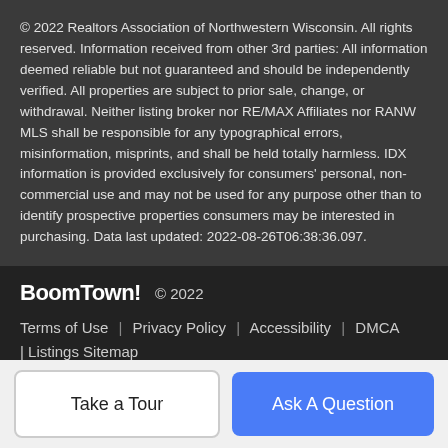© 2022 Realtors Association of Northwestern Wisconsin. All rights reserved. Information received from other 3rd parties: All information deemed reliable but not guaranteed and should be independently verified. All properties are subject to prior sale, change, or withdrawal. Neither listing broker nor RE/MAX Affiliates nor RANW MLS shall be responsible for any typographical errors, misinformation, misprints, and shall be held totally harmless. IDX information is provided exclusively for consumers' personal, non-commercial use and may not be used for any purpose other than to identify prospective properties consumers may be interested in purchasing. Data last updated: 2022-08-26T06:38:36.097.
BoomTown! © 2022 | Terms of Use | Privacy Policy | Accessibility | DMCA | Listings Sitemap
Take a Tour
Ask A Question